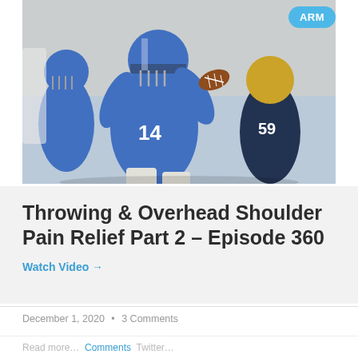[Figure (photo): Football player in blue jersey number 14 throwing a pass, with defenders in background during a game]
Throwing & Overhead Shoulder Pain Relief Part 2 – Episode 360
Watch Video →
December 1, 2020  •  3 Comments